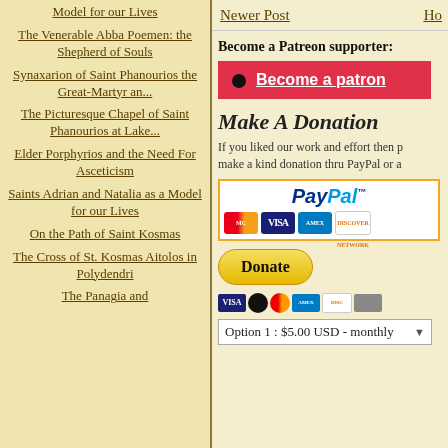Model for our Lives
The Venerable Abba Poemen: the Shepherd of Souls
Synaxarion of Saint Phanourios the Great-Martyr an...
The Picturesque Chapel of Saint Phanourios at Lake...
Elder Porphyrios and the Need For Asceticism
Saints Adrian and Natalia as a Model for our Lives
On the Path of Saint Kosmas
The Cross of St. Kosmas Aitolos in Polydendri
The Panagia and
Newer Post
Ho
Become a Patreon supporter:
[Figure (other): Become a Patron button - red Patreon button with circle icon]
Make A Donation
If you liked our work and effort then please make a kind donation thru PayPal or a
[Figure (other): PayPal donation box with credit card logos: MasterCard, VISA, American Express, Discover]
[Figure (other): Yellow Donate button with payment card icons: VISA, MasterCard, MasterCard, American Express, Discover, other]
Option 1 : $5.00 USD - monthly